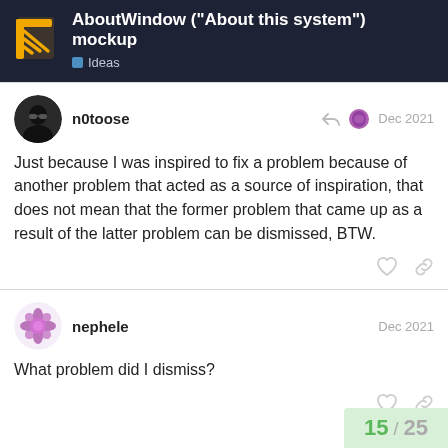AboutWindow ("About this system") mockup — Ideas
Just because I was inspired to fix a problem because of another problem that acted as a source of inspiration, that does not mean that the former problem that came up as a result of the latter problem can be dismissed, BTW.
What problem did I dismiss?
15 / 25